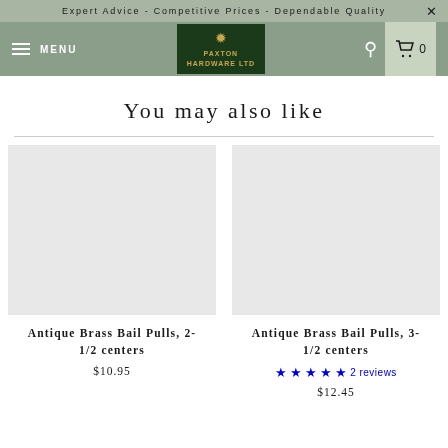Expert Advice - Competitive Prices - Dependable Quality
[Figure (logo): Paxton Hardware Ltd logo with crown emblem on dark green background]
You may also like
Antique Brass Bail Pulls, 2-1/2 centers
$10.95
Antique Brass Bail Pulls, 3-1/2 centers
2 reviews
$12.45